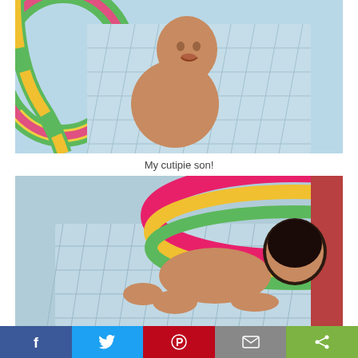[Figure (photo): Baby boy sitting in a colorful inflatable ring pool with water, smiling at the camera. The pool has rainbow-colored rings (green, yellow, orange, pink). The baby is nude and appears happy.]
My cutipie son!
[Figure (photo): Same baby boy in the same colorful inflatable ring pool, now facing away from the camera and leaning forward on hands and knees in the water. The pool has pink, yellow, and green rings.]
[Figure (infographic): Social sharing bar with five buttons: Facebook (blue, f icon), Twitter (light blue, bird icon), Pinterest (red, P icon), Email (gray, envelope icon), Share (green, share icon).]